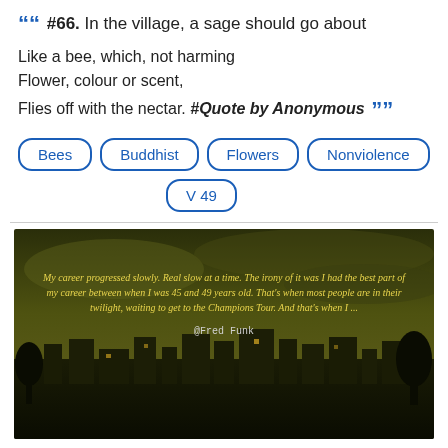““ #66. In the village, a sage should go about
Like a bee, which, not harming
Flower, colour or scent,
Flies off with the nectar. #Quote by Anonymous ””
Bees
Buddhist
Flowers
Nonviolence
V 49
[Figure (photo): Dark olive/yellow toned photo of a village or town at dusk with buildings and trees silhouetted against a dramatic cloudy sky. Overlaid text reads: 'My career progressed slowly. Real slow at a time. The irony of it was I had the best part of my career between when I was 45 and 49 years old. That's when most people are in their twilight, waiting to get to the Champions Tour. And that's when I ...' attributed to @Fred Funk]